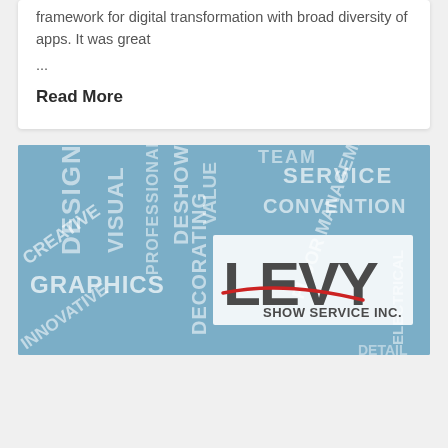framework for digital transformation with broad diversity of apps. It was great
...
Read More
[Figure (photo): Levy Show Service Inc. promotional banner image with word cloud including CREATIVE, GRAPHICS, DESIGN, VISUAL, DECORATING, DESHOW, VALUE, SERVICE, CONVENTION, FLOOR MANAGEMENT, ELECTRICAL, INNOVATIVE, DETAIL and the Levy Show Service Inc. logo on a light blue background.]